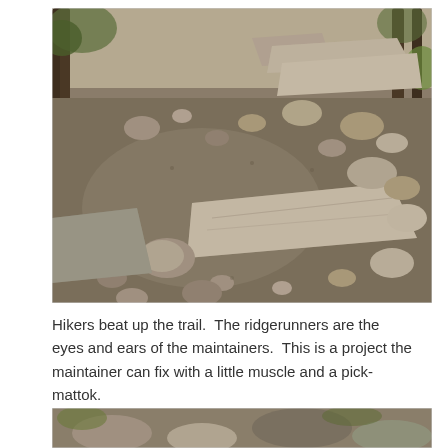[Figure (photo): Photograph of a rocky hiking trail showing large flat stones and scattered rocks on a dirt path in a wooded area. Rocks appear displaced and the trail surface is damaged.]
Hikers beat up the trail.  The ridgerunners are the eyes and ears of the maintainers.  This is a project the maintainer can fix with a little muscle and a pick-mattok.
[Figure (photo): Partial photograph visible at the bottom of the page showing a rocky trail area with vegetation.]